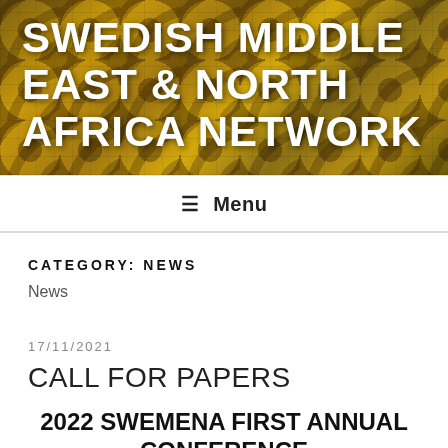[Figure (photo): Decorative Islamic geometric tile pattern in gold and dark brown tones, serving as the header background image for Swedish Middle East & North Africa Network]
SWEDISH MIDDLE EAST & NORTH AFRICA NETWORK
≡ Menu
CATEGORY: NEWS
News
17/11/2021
CALL FOR PAPERS
2022 SWEMENA FIRST ANNUAL CONFERENCE